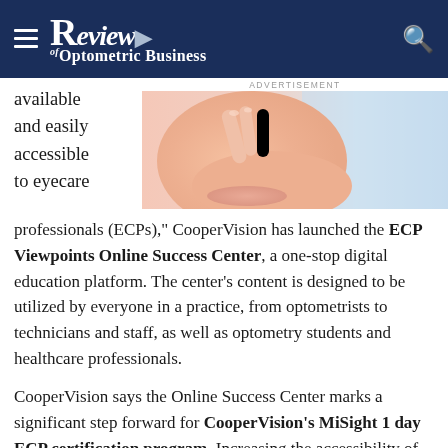Review of Optometric Business
available and easily accessible to eyecare professionals (ECPs)," CooperVision has launched the ECP Viewpoints Online Success Center, a one-stop digital education platform. The center's content is designed to be utilized by everyone in a practice, from optometrists to technicians and staff, as well as optometry students and healthcare professionals.
[Figure (photo): Close-up photo of a person's face, appearing to touch near their eye, with a light blue background.]
CooperVision says the Online Success Center marks a significant step forward for CooperVision's MiSight 1 day ECP certification program. Increasing the accessibility of myopia and myopia control education aligns with the company's commitment to advance myopia management as